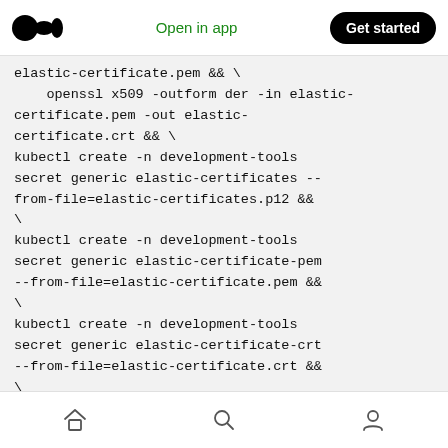Open in app | Get started
elastic-certificate.pem && \
    openssl x509 -outform der -in elastic-
certificate.pem -out elastic-
certificate.crt && \
kubectl create -n development-tools
secret generic elastic-certificates --
from-file=elastic-certificates.p12 &&
\
kubectl create -n development-tools
secret generic elastic-certificate-pem
--from-file=elastic-certificate.pem &&
\
kubectl create -n development-tools
secret generic elastic-certificate-crt
--from-file=elastic-certificate.crt &&
\
kubectl create -n development-tools
secret generic elastic-credentials  --
home | search | profile